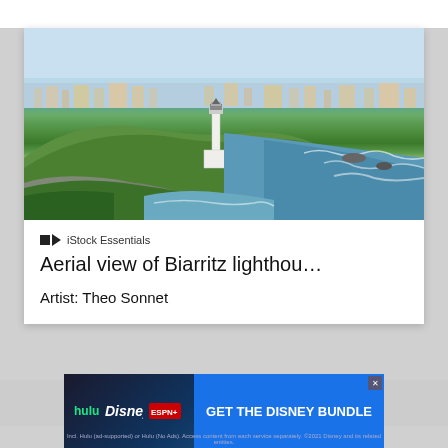[Figure (photo): Aerial panoramic photograph of Biarritz lighthouse on a coastal cliff with city skyline in background, ocean waves, rocky coastline, and green vegetation]
iStock Essentials
Aerial view of Biarritz lighthou…
Artist: Theo Sonnet
Limited-Time offer. Save 15% on everything with code 15AOTW
[Figure (photo): Disney Bundle advertisement banner with Hulu, Disney+, and ESPN+ logos and blue 'GET THE DISNEY BUNDLE' button. Fine print: Incl. Hulu (ad-supported) or Hulu (No Ads). Access content from each service separately. ©2021 Disney and its related entities.]